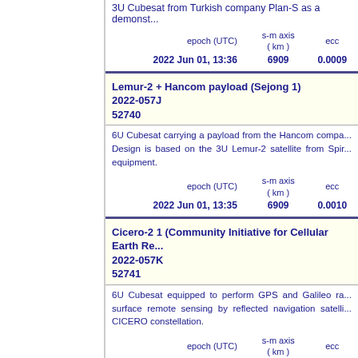3U Cubesat from Turkish company Plan-S as a demonstration mission.
| epoch (UTC) | s-m axis ( km ) | ecc |
| --- | --- | --- |
| 2022 Jun 01, 13:36 | 6909 | 0.0009 |
Lemur-2 + Hancom payload (Sejong 1)
2022-057J
52740
6U Cubesat carrying a payload from the Hancom company. Design is based on the 3U Lemur-2 satellite from Spire, but with Hancom equipment.
| epoch (UTC) | s-m axis ( km ) | ecc |
| --- | --- | --- |
| 2022 Jun 01, 13:35 | 6909 | 0.0010 |
Cicero-2 1 (Community Initiative for Cellular Earth Re...
2022-057K
52741
6U Cubesat equipped to perform GPS and Galileo radio occultation and surface remote sensing by reflected navigation satellite signals as part of the CICERO constellation.
| epoch (UTC) | s-m axis ( km ) | ecc |
| --- | --- | --- |
| 2022 Jun 01, 13:35 | 6909 | 0.0010 |
C-POD 2 (Cubesat Proximity Operations Demonstrat...